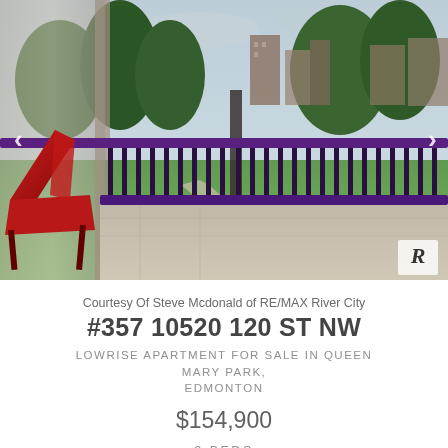[Figure (photo): Balcony view of apartment with red lounge chair, purple metal railing, trees and city buildings in background]
Courtesy Of Steve Mcdonald of RE/MAX River City
#357 10520 120 ST NW
LOWRISE APARTMENT FOR SALE IN QUEEN MARY PARK, EDMONTON
$154,900
2 BEDS